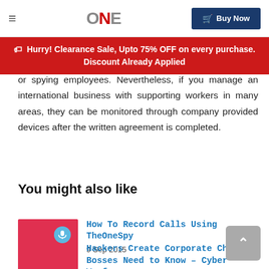ONE | Buy Now
Hurry! Clearance Sale, Upto 75% OFF on every purchase. Discount Already Applied
or spying employees. Nevertheless, if you manage an international business with supporting workers in many areas, they can be monitored through company provided devices after the written agreement is completed.
You might also like
How To Record Calls Using TheOneSpy
9 Sep 2015
Hackers Create Corporate Chaos: Bosses Need to Know – Cyber Warfare
6 Mar 2018